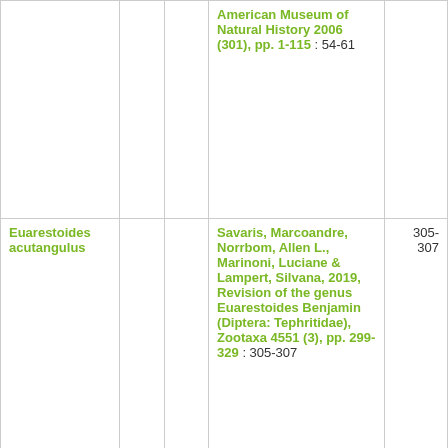| Taxon |  |  | Reference | Pages |
| --- | --- | --- | --- | --- |
|  |  |  | American Museum of Natural History 2006 (301), pp. 1-115 : 54-61 |  |
| Euarestoides acutangulus |  |  | Savaris, Marcoandre, Norrbom, Allen L., Marinoni, Luciane & Lampert, Silvana, 2019, Revision of the genus Euarestoides Benjamin (Diptera: Tephritidae), Zootaxa 4551 (3), pp. 299-329 : 305-307 | 305-307 |
| Lasioglossum (Dialictus) mesillense |  |  | Gardner, Joel & Gibbs, Jason, 2020, The ' red-tailed' | 125-136 |